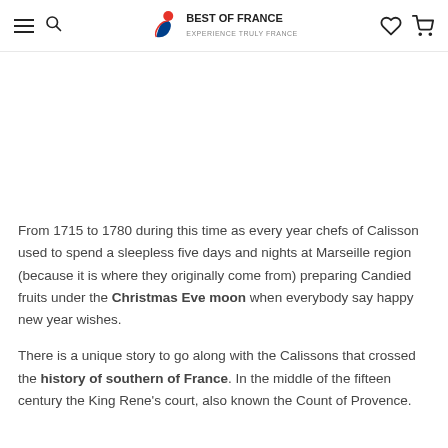Best of France — Experience Truly France
From 1715 to 1780 during this time as every year chefs of Calisson used to spend a sleepless five days and nights at Marseille region (because it is where they originally come from) preparing Candied fruits under the Christmas Eve moon when everybody say happy new year wishes.
There is a unique story to go along with the Calissons that crossed the history of southern of France. In the middle of the fifteen century the King Rene's court, also known the Count of Provence.